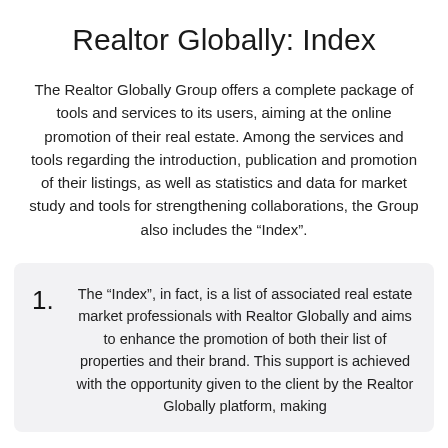Realtor Globally: Index
The Realtor Globally Group offers a complete package of tools and services to its users, aiming at the online promotion of their real estate. Among the services and tools regarding the introduction, publication and promotion of their listings, as well as statistics and data for market study and tools for strengthening collaborations, the Group also includes the “Index”.
The “Index”, in fact, is a list of associated real estate market professionals with Realtor Globally and aims to enhance the promotion of both their list of properties and their brand. This support is achieved with the opportunity given to the client by the Realtor Globally platform, making